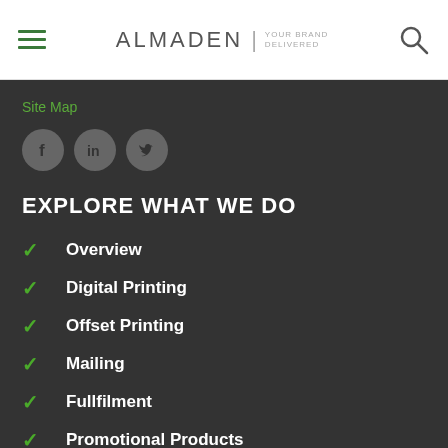ALMADEN | YOUR BRAND DELIVERED
Site Map
[Figure (illustration): Social media icons: Facebook, LinkedIn, Twitter in grey circles]
EXPLORE WHAT WE DO
Overview
Digital Printing
Offset Printing
Mailing
Fullfilment
Promotional Products
Litigation and Claims Administration Services (partial)